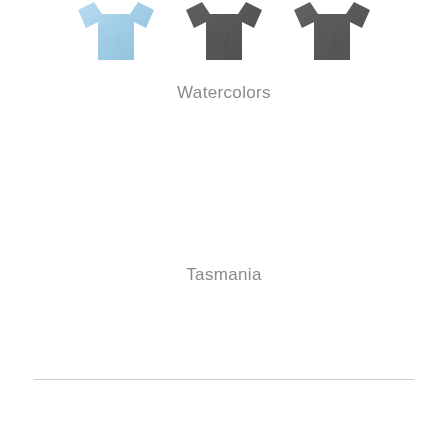[Figure (photo): Three folded t-shirts in a row: light blue on the left, dark gray in the middle, dark gray on the right]
Watercolors
Tasmania